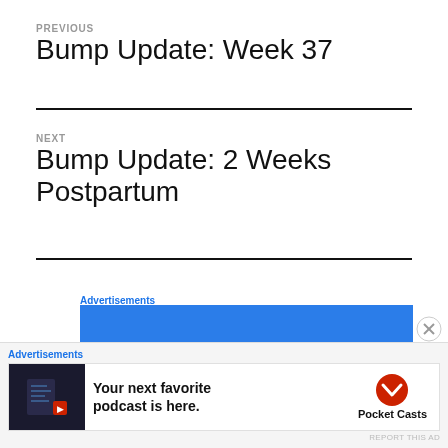PREVIOUS
Bump Update: Week 37
NEXT
Bump Update: 2 Weeks Postpartum
Advertisements
[Figure (screenshot): Blue advertisement banner with white text 'Wi...' (partially visible)]
Advertisements
[Figure (screenshot): Pocket Casts advertisement: 'Your next favorite podcast is here.' with Pocket Casts logo]